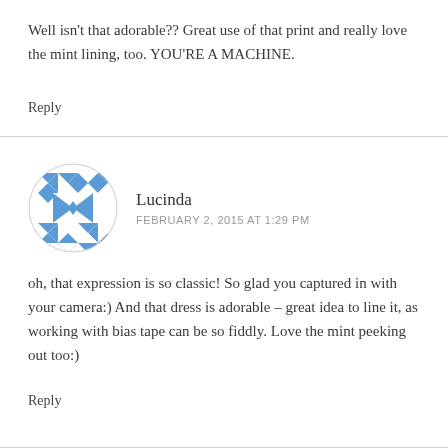Well isn't that adorable?? Great use of that print and really love the mint lining, too. YOU'RE A MACHINE.
Reply
Lucinda
FEBRUARY 2, 2015 AT 1:29 PM
oh, that expression is so classic! So glad you captured in with your camera:) And that dress is adorable – great idea to line it, as working with bias tape can be so fiddly. Love the mint peeking out too:)
Reply